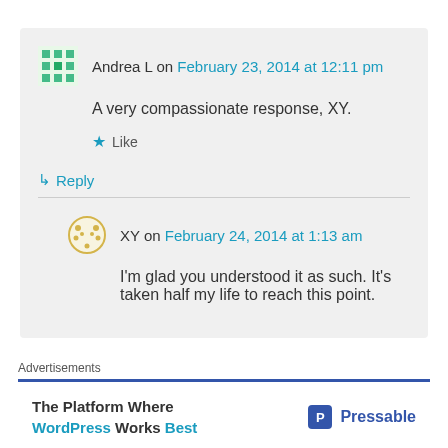Andrea L on February 23, 2014 at 12:11 pm
A very compassionate response, XY.
★ Like
↳ Reply
XY on February 24, 2014 at 1:13 am
I'm glad you understood it as such. It's taken half my life to reach this point.
Advertisements
The Platform Where WordPress Works Best — Pressable